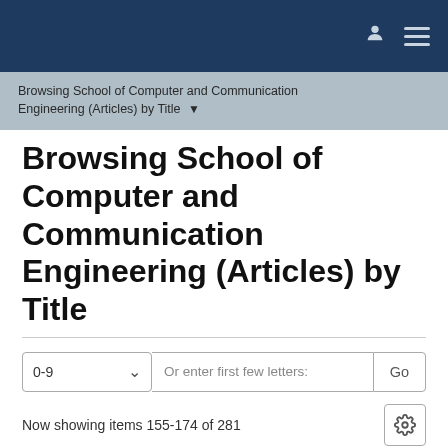Browsing School of Computer and Communication Engineering (Articles) by Title
Browsing School of Computer and Communication Engineering (Articles) by Title
Now showing items 155-174 of 281
New catenated OFDM modulation scheme in zero cross correlation OCDMA at various number of user and effective power
Norizan Mohamed, Nawawi; Anuar, Mat Safar; Junita, Mohd Nordin; Mohd Rashidi, Che Beson (EDP Sciences, 2017)